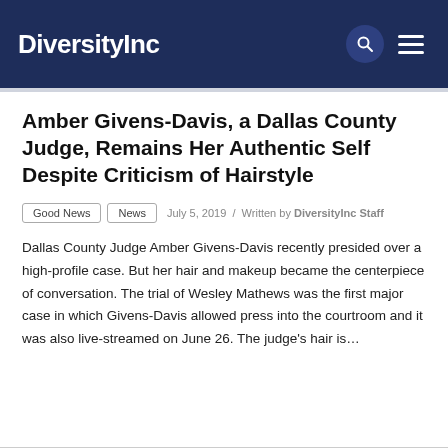DiversityInc
Amber Givens-Davis, a Dallas County Judge, Remains Her Authentic Self Despite Criticism of Hairstyle
Good News   News   July 5, 2019 / Written by DiversityInc Staff
Dallas County Judge Amber Givens-Davis recently presided over a high-profile case. But her hair and makeup became the centerpiece of conversation. The trial of Wesley Mathews was the first major case in which Givens-Davis allowed press into the courtroom and it was also live-streamed on June 26. The judge's hair is…